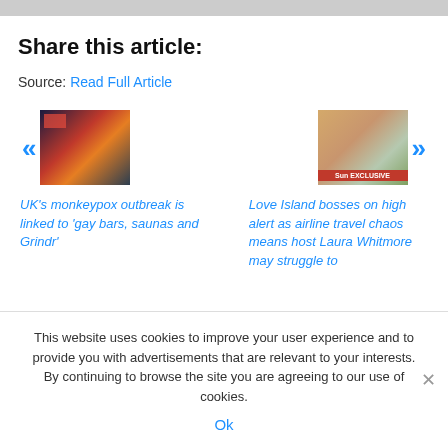Share this article:
Source: Read Full Article
[Figure (photo): Thumbnail image related to monkeypox article showing a map with outbreak data]
[Figure (photo): Thumbnail image of a woman with sunglasses, Love Island related, with 'Sun EXCLUSIVE' banner]
UK's monkeypox outbreak is linked to 'gay bars, saunas and Grindr'
Love Island bosses on high alert as airline travel chaos means host Laura Whitmore may struggle to
This website uses cookies to improve your user experience and to provide you with advertisements that are relevant to your interests. By continuing to browse the site you are agreeing to our use of cookies.
Ok